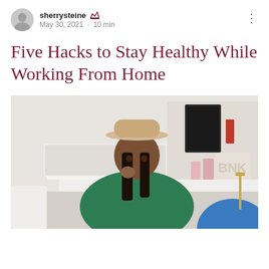sherrysteine · May 30, 2021 · 10 min
Five Hacks to Stay Healthy While Working From Home
[Figure (photo): A Black woman wearing a pink/beige wide-brim hat and a green blouse sits at a white desk, resting her chin on her hand while looking at a laptop screen. The office background shows shelves with books, pink containers, and a motivational poster.]